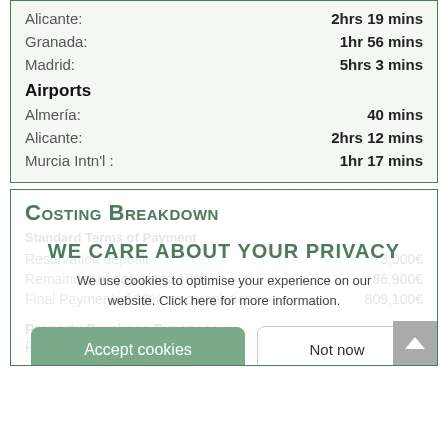| City | Travel Time |
| --- | --- |
| Alicante: | 2hrs 19 mins |
| Granada: | 1hr 56 mins |
| Madrid: | 5hrs 3 mins |
Airports
| Airport | Travel Time |
| --- | --- |
| Almería: | 40 mins |
| Alicante: | 2hrs 12 mins |
| Murcia Intn'l: | 1hr 17 mins |
Costing Breakdown
Standard Terms of Payment
Reservation deposit  3,000€
Remainder of deposit to 10%  86,900€
Final Payment of 90% on completion  809,100€
Property Purchase Expenses
Property price  899,000€
WE CARE ABOUT YOUR PRIVACY — We use cookies to optimise your experience on our website. Click here for more information.
Accept cookies / Not now